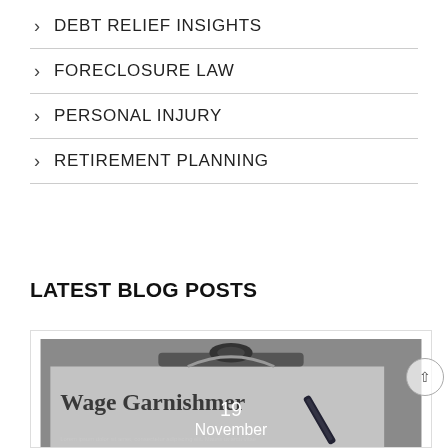DEBT RELIEF INSIGHTS
FORECLOSURE LAW
PERSONAL INJURY
RETIREMENT PLANNING
LATEST BLOG POSTS
[Figure (photo): Photo of a clipboard with a document titled 'Wage Garnishment' with a pen on top, overlaid with date '19 November' and faint lorem ipsum text at the bottom]